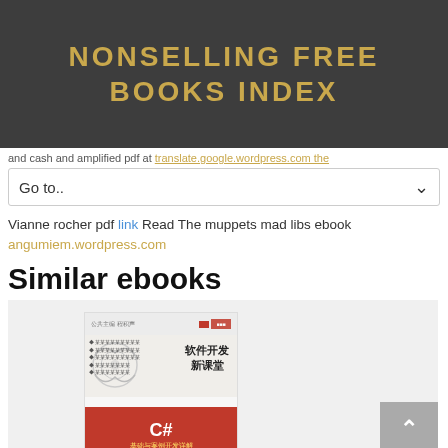NONSELLING FREE BOOKS INDEX
and cash and amplified pdf at translate.google.wordpress.com the
Go to..
Vianne rocher pdf link Read The muppets mad libs ebook angumiem.wordpress.com
Similar ebooks
[Figure (photo): Book cover of a Chinese C# programming book titled '软件开发新课堂' with a red section showing 'C#基础与案例开发详解']